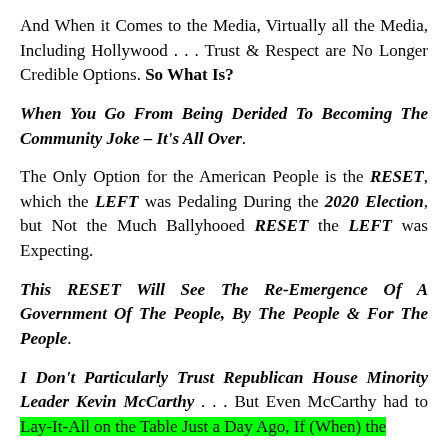And When it Comes to the Media, Virtually all the Media, Including Hollywood . . . Trust & Respect are No Longer Credible Options. So What Is?
When You Go From Being Derided To Becoming The Community Joke – It's All Over.
The Only Option for the American People is the RESET, which the LEFT was Pedaling During the 2020 Election, but Not the Much Ballyhooed RESET the LEFT was Expecting.
This RESET Will See The Re-Emergence Of A Government Of The People, By The People & For The People.
I Don't Particularly Trust Republican House Minority Leader Kevin McCarthy . . . But Even McCarthy had to Lay-It-All on the Table Just a Day Ago, If (When) the